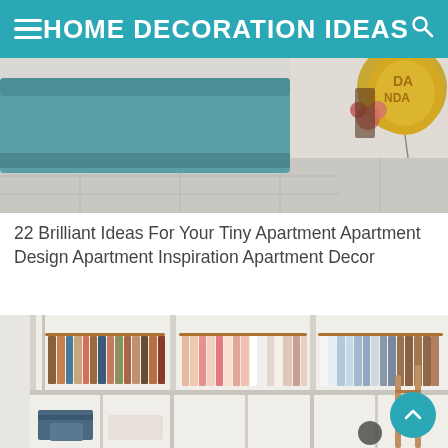HOME DECORATION IDEAS
[Figure (photo): Top portion of a room/apartment interior with a teal/blue ottoman and a person holding a gold balloon with text on it]
22 Brilliant Ideas For Your Tiny Apartment Apartment Design Apartment Inspiration Apartment Decor
[Figure (photo): Organized walk-in closet with three sections of clothing hanging on copper rods, white shelving units, and a wooden ladder on the right side]